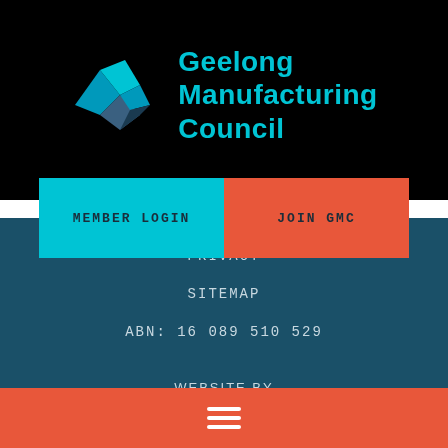[Figure (logo): Geelong Manufacturing Council logo with geometric blue/teal diamond shape and text 'Geelong Manufacturing Council']
MEMBER LOGIN
JOIN GMC
PRIVACY
SITEMAP
ABN: 16 089 510 529
WEBSITE BY
GOOP DIGITAL
[Figure (other): Hamburger menu icon (three horizontal white lines) on coral/orange background]